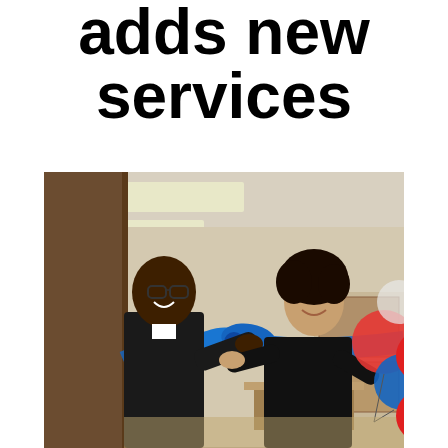adds new services
[Figure (photo): Two people cutting a blue ribbon at an office grand opening ceremony. A man in a dark suit on the left and a woman in black on the right, both smiling. Colorful balloons visible in the background and to the right.]